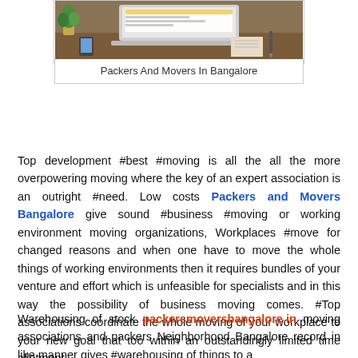[Figure (photo): Laptop on a desk with office items]
Packers And Movers In Bangalore
Top development #best #moving is all the all the more overpowering moving where the key of an expert association is an outright #need. Low costs Packers and Movers Bangalore give sound #business #moving or working environment moving organizations, Workplaces #move for changed reasons and when one have to move the whole things of working environments then it requires bundles of your venture and effort which is unfeasible for specialists and in this way the possibility of business moving comes. #Top associations coordinate the whole moving of your workplace to your new goal that too within an outstandingly limited time allotment.
Warehousing of stock packersmoversbangalore.in moving associations and packers Neighborhood Bangalore record in like manner gives #warehousing of things to a